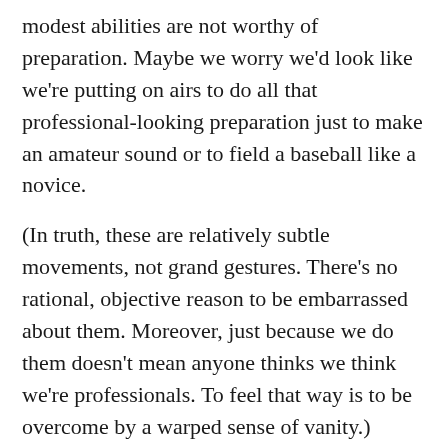modest abilities are not worthy of preparation. Maybe we worry we'd look like we're putting on airs to do all that professional-looking preparation just to make an amateur sound or to field a baseball like a novice.
(In truth, these are relatively subtle movements, not grand gestures. There's no rational, objective reason to be embarrassed about them. Moreover, just because we do them doesn't mean anyone thinks we think we're professionals. To feel that way is to be overcome by a warped sense of vanity.)
There's a disrespect in an attitude that leads to deliberate avoidance of preparatory fundamentals. We're not respecting the thing we're trying to do. And, we're disrespecting others in our presence with whom we are trying (or should be trying) to achieve the best performance (like a rehearsal or lesson).